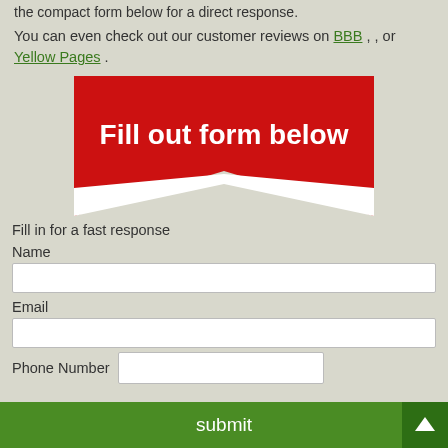the compact form below for a direct response.
You can even check out our customer reviews on BBB , , or Yellow Pages .
[Figure (infographic): Red chevron/arrow shape pointing downward on white background with text 'Fill out form below' in bold white.]
Fill in for a fast response
Name
Email
Phone Number
submit